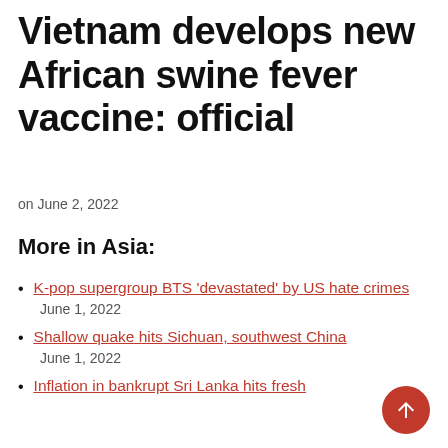Vietnam develops new African swine fever vaccine: official
on June 2, 2022
More in Asia:
K-pop supergroup BTS ‘devastated’ by US hate crimes
June 1, 2022
Shallow quake hits Sichuan, southwest China
June 1, 2022
Inflation in bankrupt Sri Lanka hits fresh